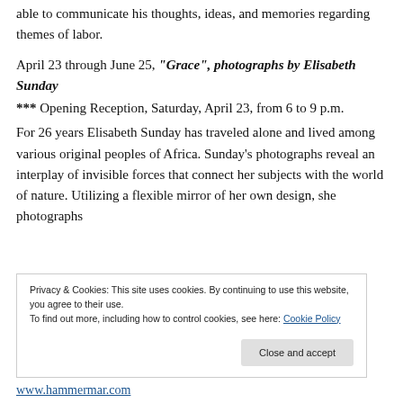able to communicate his thoughts, ideas, and memories regarding themes of labor.
April 23 through June 25, "Grace", photographs by Elisabeth Sunday
*** Opening Reception, Saturday, April 23, from 6 to 9 p.m.
For 26 years Elisabeth Sunday has traveled alone and lived among various original peoples of Africa. Sunday's photographs reveal an interplay of invisible forces that connect her subjects with the world of nature. Utilizing a flexible mirror of her own design, she photographs
Privacy & Cookies: This site uses cookies. By continuing to use this website, you agree to their use.
To find out more, including how to control cookies, see here: Cookie Policy
Close and accept
www.hammermar.com